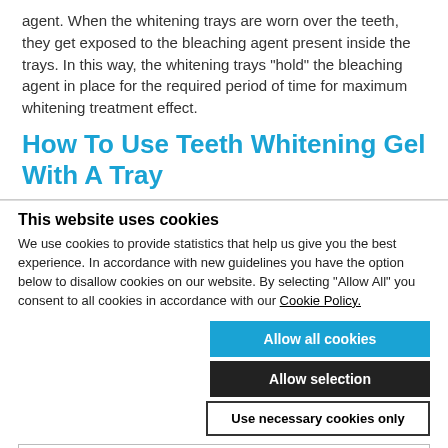agent. When the whitening trays are worn over the teeth, they get exposed to the bleaching agent present inside the trays. In this way, the whitening trays “hold” the bleaching agent in place for the required period of time for maximum whitening treatment effect.
How To Use Teeth Whitening Gel With A Tray
This website uses cookies
We use cookies to provide statistics that help us give you the best experience. In accordance with new guidelines you have the option below to disallow cookies on our website. By selecting "Allow All" you consent to all cookies in accordance with our Cookie Policy.
Allow all cookies
Allow selection
Use necessary cookies only
Necessary  Preferences  Statistics  Marketing  Show details